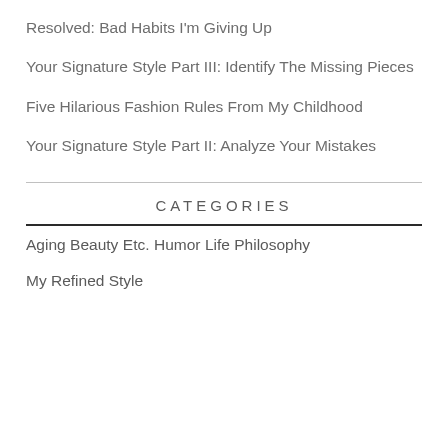Resolved: Bad Habits I'm Giving Up
Your Signature Style Part III: Identify The Missing Pieces
Five Hilarious Fashion Rules From My Childhood
Your Signature Style Part II: Analyze Your Mistakes
CATEGORIES
Aging
Beauty
Etc.
Humor
Life Philosophy
My Refined Style